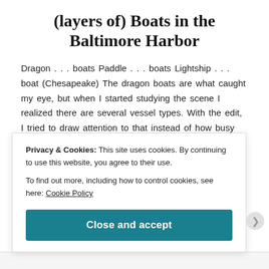(layers of) Boats in the Baltimore Harbor
Dragon . . . boats Paddle . . . boats Lightship . . . boat (Chesapeake) The dragon boats are what caught my eye, but when I started studying the scene I realized there are several vessel types. With the edit, I tried to draw attention to that instead of how busy the picture is.
Continue reading →
Privacy & Cookies: This site uses cookies. By continuing to use this website, you agree to their use.
To find out more, including how to control cookies, see here: Cookie Policy
Close and accept